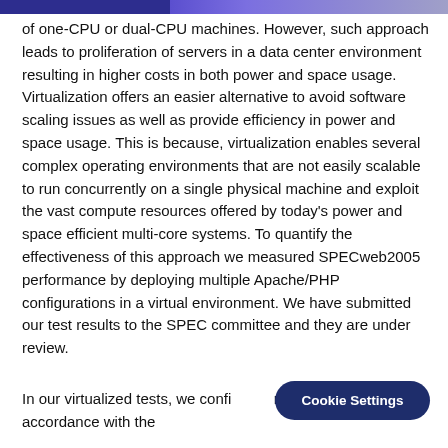of one-CPU or dual-CPU machines. However, such approach leads to proliferation of servers in a data center environment resulting in higher costs in both power and space usage. Virtualization offers an easier alternative to avoid software scaling issues as well as provide efficiency in power and space usage. This is because, virtualization enables several complex operating environments that are not easily scalable to run concurrently on a single physical machine and exploit the vast compute resources offered by today's power and space efficient multi-core systems. To quantify the effectiveness of this approach we measured SPECweb2005 performance by deploying multiple Apache/PHP configurations in a virtual environment. We have submitted our test results to the SPEC committee and they are under review.
In our virtualized tests, we confi machines in accordance with the